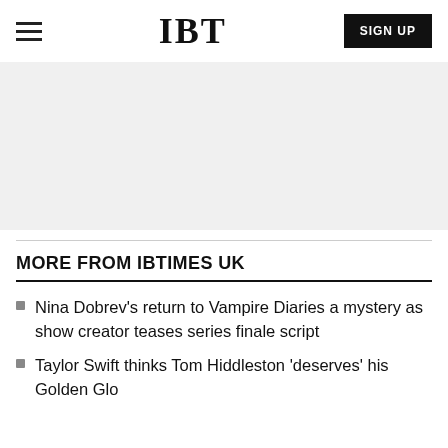IBT
[Figure (other): Light gray advertisement placeholder banner]
MORE FROM IBTIMES UK
Nina Dobrev's return to Vampire Diaries a mystery as show creator teases series finale script
Taylor Swift thinks Tom Hiddleston 'deserves' his Golden Globe nod